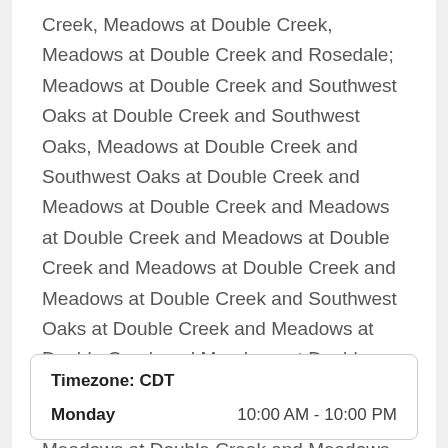Creek, Meadows at Double Creek, Meadows at Double Creek and Rosedale; Meadows at Double Creek and Southwest Oaks at Double Creek and Southwest Oaks, Meadows at Double Creek and Southwest Oaks at Double Creek and Meadows at Double Creek and Meadows at Double Creek and Meadows at Double Creek and Meadows at Double Creek and Meadows at Double Creek and Southwest Oaks at Double Creek and Meadows at Double Creek and Meadows at Double Creek and Meadows at Double Canyon; Meadows at Double Creek and Rosedale; Meadows at Double Creek and Meadows at Double Creek and Meadows at Double Creek and Rosedale
Timezone: CDT
Monday   10:00 AM - 10:00 PM